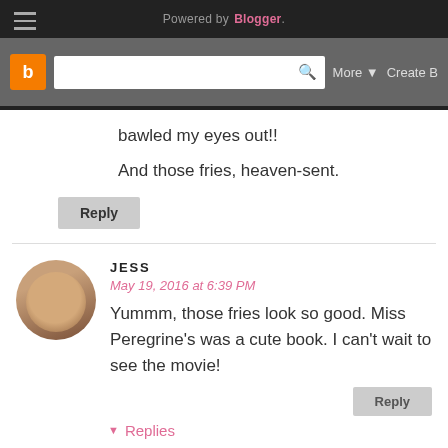Powered by Blogger.
bawled my eyes out!!
And those fries, heaven-sent.
Reply
JESS
May 19, 2016 at 6:39 PM
Yummm, those fries look so good. Miss Peregrine's was a cute book. I can't wait to see the movie!
Reply
Replies
KAYLA | A PAPER ARROW
May 20, 2016 at 7:51 AM
I've heard a lot of mixed